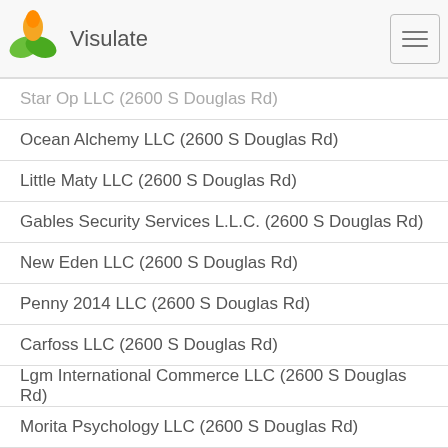Visulate
Star Op LLC (2600 S Douglas Rd)
Ocean Alchemy LLC (2600 S Douglas Rd)
Little Maty LLC (2600 S Douglas Rd)
Gables Security Services L.L.C. (2600 S Douglas Rd)
New Eden LLC (2600 S Douglas Rd)
Penny 2014 LLC (2600 S Douglas Rd)
Carfoss LLC (2600 S Douglas Rd)
Lgm International Commerce LLC (2600 S Douglas Rd)
Morita Psychology LLC (2600 S Douglas Rd)
Soft Nine LLC (2600 S Douglas Rd)